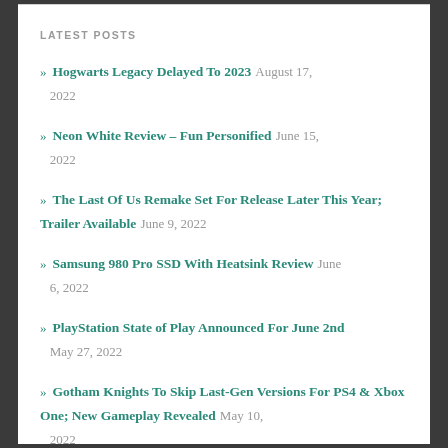LATEST POSTS
Hogwarts Legacy Delayed To 2023  August 17, 2022
Neon White Review – Fun Personified  June 15, 2022
The Last Of Us Remake Set For Release Later This Year; Trailer Available  June 9, 2022
Samsung 980 Pro SSD With Heatsink Review  June 6, 2022
PlayStation State of Play Announced For June 2nd  May 27, 2022
Gotham Knights To Skip Last-Gen Versions For PS4 & Xbox One; New Gameplay Revealed  May 10, 2022